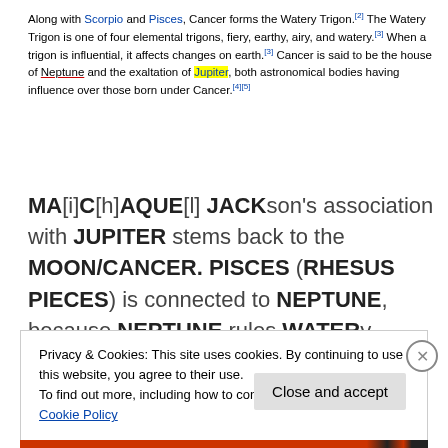Along with Scorpio and Pisces, Cancer forms the Watery Trigon.[2] The Watery Trigon is one of four elemental trigons, fiery, earthy, airy, and watery.[3] When a trigon is influential, it affects changes on earth.[3] Cancer is said to be the house of Neptune and the exaltation of Jupiter, both astronomical bodies having influence over those born under Cancer.[4][5]
MA[i]C[h]AQUE[l] JACKson's association with JUPITER stems back to the MOON/CANCER. PISCES (RHESUS PIECES) is connected to NEPTUNE, because NEPTUNE rules WATERy PISCES.
Privacy & Cookies: This site uses cookies. By continuing to use this website, you agree to their use. To find out more, including how to control cookies, see here: Cookie Policy